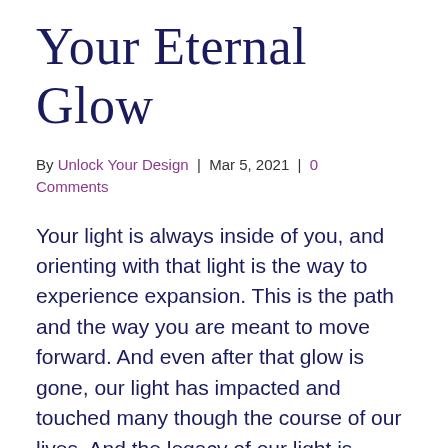Your Eternal Glow
By Unlock Your Design | Mar 5, 2021 | 0 Comments
Your light is always inside of you, and orienting with that light is the way to experience expansion. This is the path and the way you are meant to move forward. And even after that glow is gone, our light has impacted and touched many though the course of our lives. And the legacy of our light is